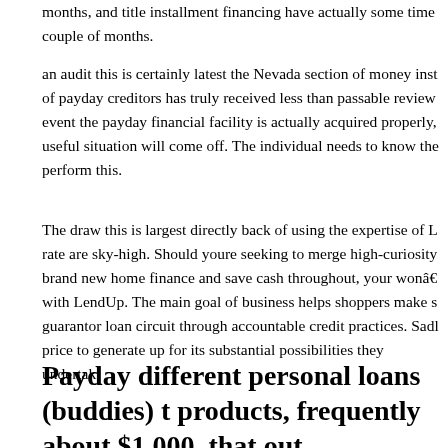months, and title installment financing have actually some time couple of months.
an audit this is certainly latest the Nevada section of money inst of payday creditors has truly received less than passable review event the payday financial facility is actually acquired properly, useful situation will come off. The individual needs to know the perform this.
The draw this is largest directly back of using the expertise of L rate are sky-high. Should youre seeking to merge high-curiosity brand new home finance and save cash throughout, your wonâ€ with LendUp. The main goal of business helps shoppers make s guarantor loan circuit through accountable credit practices. Sadl price to generate up for its substantial possibilities they undertak
Payday different personal loans (buddies) t products, frequently about $1,000, that out